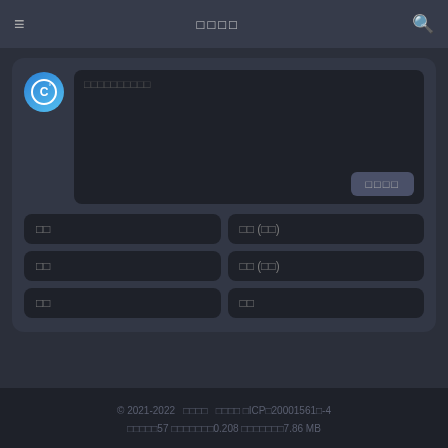□□□□
[Figure (logo): Blue circular logo with white letter C and accent mark inside]
□□□□□□□□□□
□□□□
□□
□□ (□□)
□□
□□ (□□)
□□
□□
© 2021-2022  □□□□  □□□□ □ICP□20001561□-4
□□□□□57 □□□□□□□0.208 □□□□□□□7.86 MB